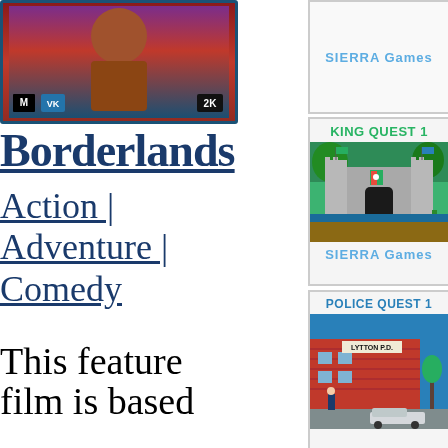[Figure (photo): Borderlands video game cover art showing a character, ESRB M rating, VK logo, and 2K logo]
Borderlands
Action | Adventure | Comedy
This feature film is based
[Figure (other): SIERRA Games logo box, top right]
[Figure (screenshot): King Quest 1 game card with SIERRA Games label and castle screenshot]
[Figure (screenshot): Police Quest 1 game card with SIERRA Games label and Lytton P.D. building screenshot]